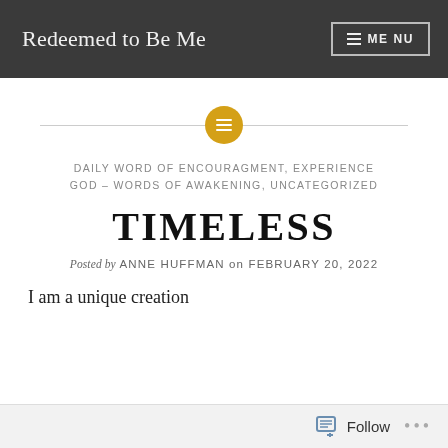Redeemed to Be Me  MENU
[Figure (other): Decorative horizontal divider with a golden/amber circle icon in the center containing a small lines/text icon]
DAILY WORD OF ENCOURAGMENT, EXPERIENCE GOD – WORDS OF AWAKENING, UNCATEGORIZED
TIMELESS
Posted by ANNE HUFFMAN on FEBRUARY 20, 2022
I am a unique creation
Follow ...